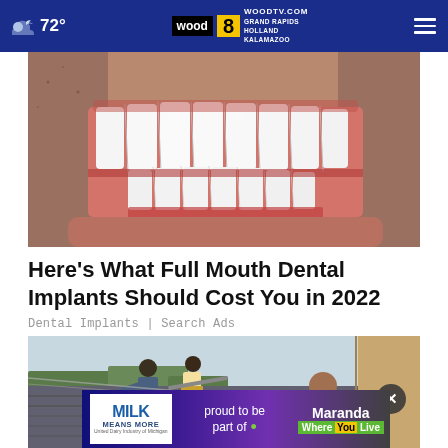☁ 72° | WOODTV.COM GRAND RAPIDS HOLLAND KALAMAZOO | wood 8 TV
[Figure (photo): Close-up photo of a person smiling showing full set of white dental implants/teeth]
Here's What Full Mouth Dental Implants Should Cost You in 2022
Dental Implants | Search Ads
[Figure (photo): Workers on a rooftop doing roofing work, one person in foreground wearing yellow gloves]
[Figure (screenshot): Advertisement banner: MILK MEANS MORE proud to be part of Maranda Where You Live - United Dairy Industry of Michigan]